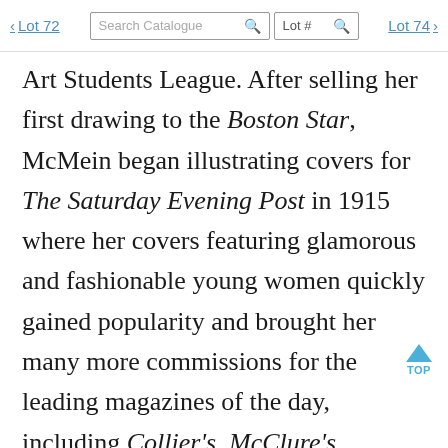< Lot 72   Search Catalogue [search icon]   Lot # [search icon]   Lot 74 >
Art Students League. After selling her first drawing to the Boston Star, McMein began illustrating covers for The Saturday Evening Post in 1915 where her covers featuring glamorous and fashionable young women quickly gained popularity and brought her many more commissions for the leading magazines of the day, including Collier's, McClure's, Liberty, and Woman's Home Companion. During World War I, McMein was commissioned to create propaganda posters for the governments of the United States and France, as well as to design fundraising